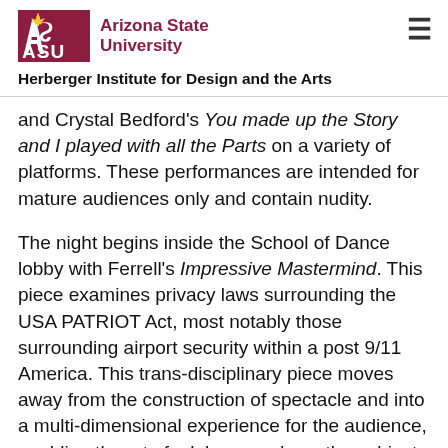Arizona State University — Herberger Institute for Design and the Arts
and Crystal Bedford's You made up the Story and I played with all the Parts on a variety of platforms. These performances are intended for mature audiences only and contain nudity.
The night begins inside the School of Dance lobby with Ferrell's Impressive Mastermind. This piece examines privacy laws surrounding the USA PATRIOT Act, most notably those surrounding airport security within a post 9/11 America. This trans-disciplinary piece moves away from the construction of spectacle and into a multi-dimensional experience for the audience, enabling them to feel, hear, and see the subject matter from a number of